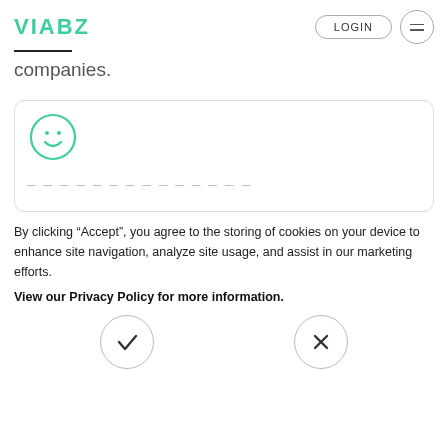VIABZ  LOGIN
companies.
[Figure (illustration): Smiley face icon in green circle, partial card UI element]
By clicking “Accept”, you agree to the storing of cookies on your device to enhance site navigation, analyze site usage, and assist in our marketing efforts.
View our Privacy Policy for more information.
[Figure (illustration): Two circular buttons: a checkmark (accept) on the left and an X (decline) on the right]